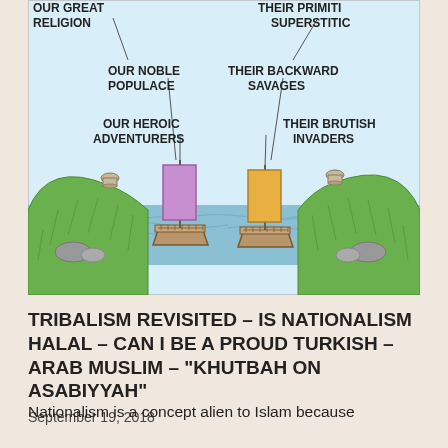[Figure (illustration): A cartoon illustration showing two groups of ships on a body of water between two green hillsides, with labels pointing to each group: 'OUR GREAT RELIGION' and 'THEIR PRIMITIVE SUPERSTITION' at top; 'OUR NOBLE POPULACE' and 'THEIR BACKWARD SAVAGES'; 'OUR HEROIC ADVENTURERS' and 'THEIR BRUTISH INVADERS'. One ship has a purple sail, the other an orange/yellow sail.]
TRIBALISM REVISITED – IS NATIONALISM HALAL – CAN I BE A PROUD TURKISH – ARAB MUSLIM – "KHUTBAH ON ASABIYYAH"
September 19, 2018
Nationalism is a concept alien to Islam because nationalism calls for unity based on family and tribalistic